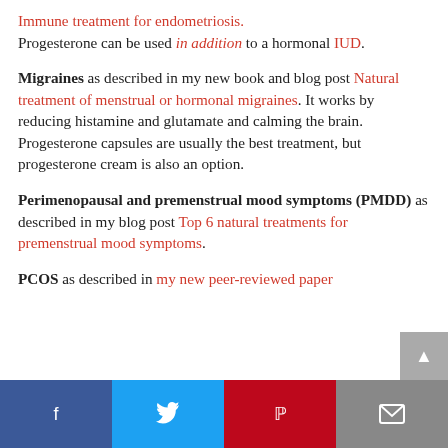Immune treatment for endometriosis. Progesterone can be used in addition to a hormonal IUD.
Migraines as described in my new book and blog post Natural treatment of menstrual or hormonal migraines. It works by reducing histamine and glutamate and calming the brain. Progesterone capsules are usually the best treatment, but progesterone cream is also an option.
Perimenopausal and premenstrual mood symptoms (PMDD) as described in my blog post Top 6 natural treatments for premenstrual mood symptoms.
PCOS as described in my new peer-reviewed paper